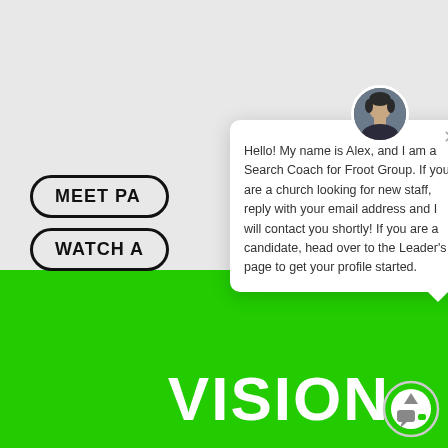[Figure (screenshot): Website screenshot with light grey top section and green bottom section. Two pill-shaped buttons on the left read 'MEET PA' and 'WATCH A' (partially obscured). A chat popup overlays the right side with an avatar photo of a man, a close button, and a message from Alex, a Search Coach for Froot Group. Bottom green section shows 'VISION' text in white and a chat icon.]
MEET PA
WATCH A
Hello! My name is Alex, and I am a Search Coach for Froot Group. If you are a church looking for new staff, reply with your email address and I will contact you shortly! If you are a candidate, head over to the Leader's page to get your profile started.
VISION